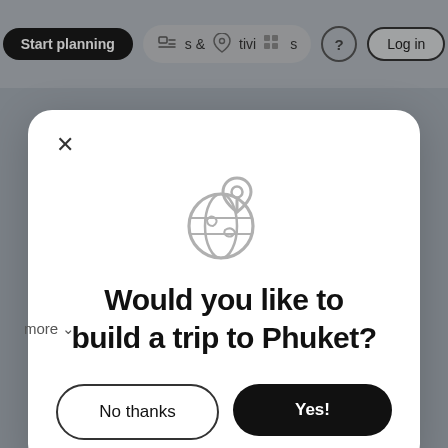[Figure (screenshot): Mobile/web app screenshot showing a modal dialog asking the user if they would like to build a trip to Phuket, with a globe-and-pin icon, a 'No thanks' outline button, and a 'Yes!' filled black button. Background shows a navigation bar with 'Start planning' pill, icons, and a 'Log in' button, plus a 'more v' text and a 'Start planning' black button at the bottom.]